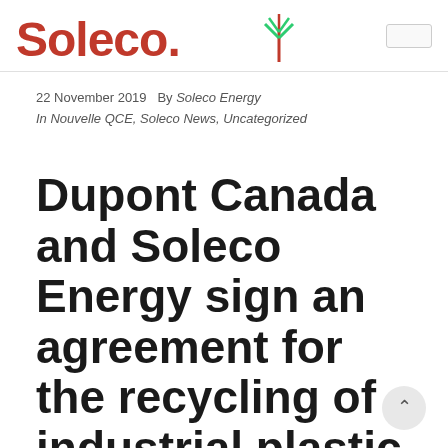Soleco Energy logo and site header
22 November 2019   By Soleco Energy
In Nouvelle QCE, Soleco News, Uncategorized
Dupont Canada and Soleco Energy sign an agreement for the recycling of industrial plastic residues.